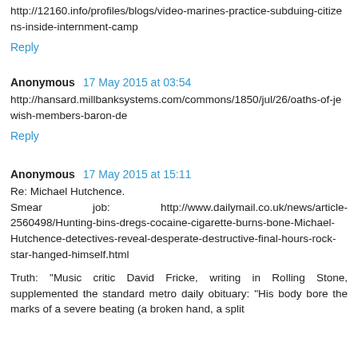http://12160.info/profiles/blogs/video-marines-practice-subduing-citizens-inside-internment-camp
Reply
Anonymous  17 May 2015 at 03:54
http://hansard.millbanksystems.com/commons/1850/jul/26/oaths-of-jewish-members-baron-de
Reply
Anonymous  17 May 2015 at 15:11
Re: Michael Hutchence.
Smear job: http://www.dailymail.co.uk/news/article-2560498/Hunting-bins-dregs-cocaine-cigarette-burns-bone-Michael-Hutchence-detectives-reveal-desperate-destructive-final-hours-rock-star-hanged-himself.html
Truth: "Music critic David Fricke, writing in Rolling Stone, supplemented the standard metro daily obituary: "His body bore the marks of a severe beating (a broken hand, a split